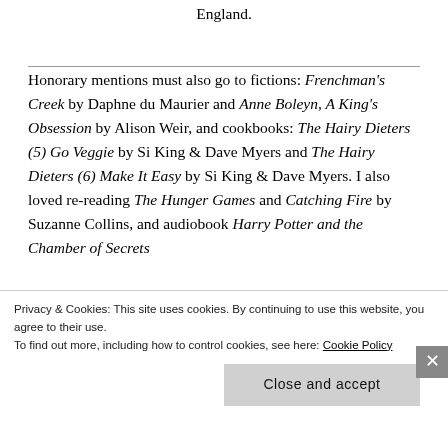England.
Honorary mentions must also go to fictions: Frenchman's Creek by Daphne du Maurier and Anne Boleyn, A King's Obsession by Alison Weir, and cookbooks: The Hairy Dieters (5) Go Veggie by Si King & Dave Myers and The Hairy Dieters (6) Make It Easy by Si King & Dave Myers. I also loved re-reading The Hunger Games and Catching Fire by Suzanne Collins, and audiobook Harry Potter and the Chamber of Secrets
Privacy & Cookies: This site uses cookies. By continuing to use this website, you agree to their use. To find out more, including how to control cookies, see here: Cookie Policy
Close and accept